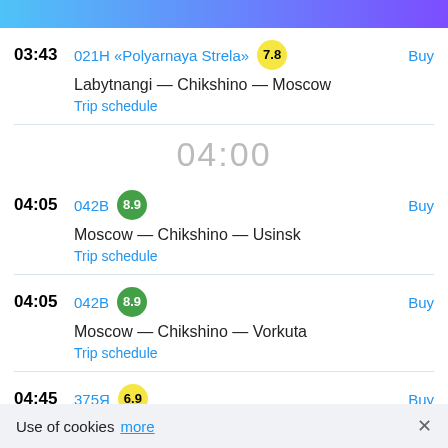03:43 021Н «Polyarnaya Strela» 7.8 — Labytnangi — Chikshino — Moscow — Trip schedule — Buy
04:00
04:05 042В 8.9 — Moscow — Chikshino — Usinsk — Trip schedule — Buy
04:05 042В 8.9 — Moscow — Chikshino — Vorkuta — Trip schedule — Buy
04:45 375Я 6.9 — Vorkuta — Chikshino — Moscow — Buy
Use of cookies more ×